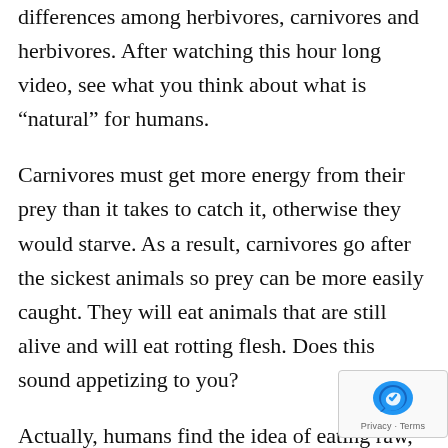differences among herbivores, carnivores and herbivores. After watching this hour long video, see what you think about what is "natural" for humans.
Carnivores must get more energy from their prey than it takes to catch it, otherwise they would starve. As a result, carnivores go after the sickest animals so prey can be more easily caught. They will eat animals that are still alive and will eat rotting flesh. Does this sound appetizing to you?
Actually, humans find the idea of eating raw, bloody flesh pretty disgusting. That is why animals foods are carefully disguised in